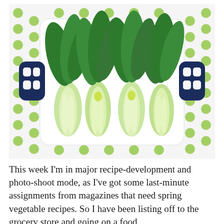[Figure (photo): Four bok choy plants laid flat on a white cutting board with navy blue handles, placed on a white background with green polka dots. The bok choy shows dark green leaves at the top and pale green-white stalks at the bottom.]
This week I'm in major recipe-development and photo-shoot mode, as I've got some last-minute assignments from magazines that need spring vegetable recipes. So I have been listing off to the grocery store and going on a food...